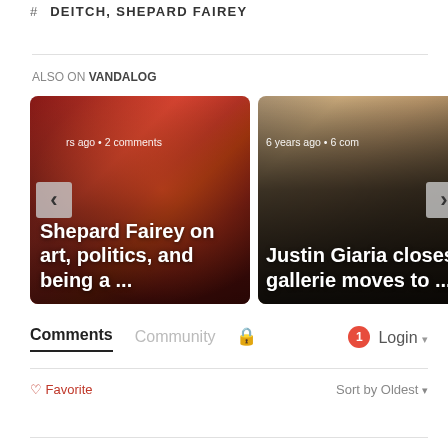# DEITCH, SHEPARD FAIREY
ALSO ON VANDALOG
[Figure (photo): Two article preview cards side by side. Left card: Shepard Fairey artwork image, text 'rs ago • 2 comments' and title 'Shepard Fairey on art, politics, and being a ...'. Right card: Stone/brick wall image, text '6 years ago • 6 com' and title 'Justin Giaria closes gallerie moves to ...']
Comments   Community   🔒   1  Login ▾
♡ Favorite   Sort by Oldest ▾